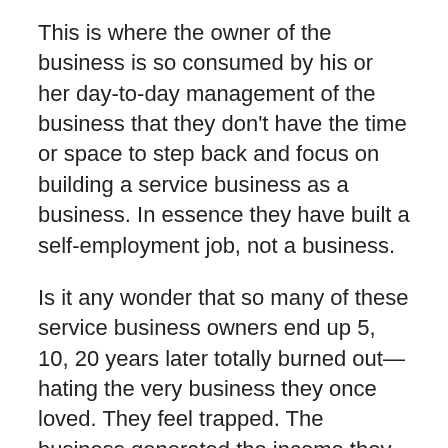This is where the owner of the business is so consumed by his or her day-to-day management of the business that they don't have the time or space to step back and focus on building a service business as a business. In essence they have built a self-employment job, not a business.
Is it any wonder that so many of these service business owners end up 5, 10, 20 years later totally burned out—hating the very business they once loved. They feel trapped. The business generated the income they need to support their family and their lifestyle. But because of how they have gone about building it, they can never really leave their business.
Whether you're working business-to-business